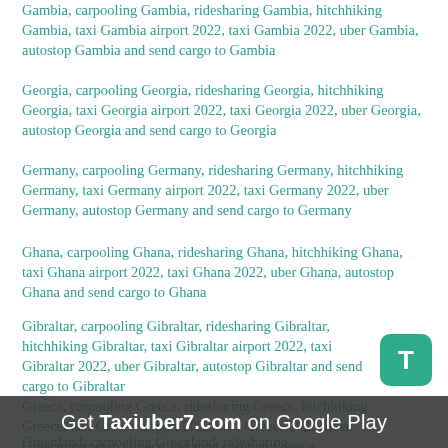Gambia, carpooling Gambia, ridesharing Gambia, hitchhiking Gambia, taxi Gambia airport 2022, taxi Gambia 2022, uber Gambia, autostop Gambia and send cargo to Gambia
Georgia, carpooling Georgia, ridesharing Georgia, hitchhiking Georgia, taxi Georgia airport 2022, taxi Georgia 2022, uber Georgia, autostop Georgia and send cargo to Georgia
Germany, carpooling Germany, ridesharing Germany, hitchhiking Germany, taxi Germany airport 2022, taxi Germany 2022, uber Germany, autostop Germany and send cargo to Germany
Ghana, carpooling Ghana, ridesharing Ghana, hitchhiking Ghana, taxi Ghana airport 2022, taxi Ghana 2022, uber Ghana, autostop Ghana and send cargo to Ghana
Gibraltar, carpooling Gibraltar, ridesharing Gibraltar, hitchhiking Gibraltar, taxi Gibraltar airport 2022, taxi Gibraltar 2022, uber Gibraltar, autostop Gibraltar and send cargo to Gibraltar
Greece, carpooling Greece, ridesharing Greece, hitchhiking Greece, taxi Greece airport 2022, taxi Greece 2022, uber Greece, autostop Greece and send cargo to Greece
Greenland, carpooling Greenland, ridesharing
Get Taxiuber7.com on Google Play